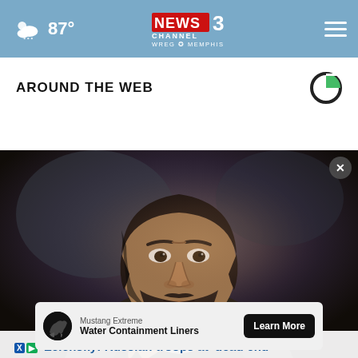NEWS CHANNEL 3 WREG MEMPHIS | 87°
AROUND THE WEB
[Figure (photo): Close-up photo of a dark-haired man with a beard resting his chin on his hand, appearing pensive. Dark, moody lighting with a blurred background.]
Mustang Extreme — Water Containment Liners — Learn More (advertisement)
Zelensky: Russian troops at 'dead end'